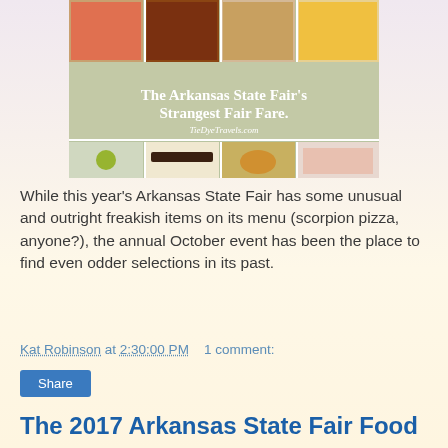[Figure (photo): Collage of fair food images with text overlay reading 'The Arkansas State Fair's Strangest Fair Fare.' and 'TieDyeTravels.com']
While this year's Arkansas State Fair has some unusual and outright freakish items on its menu (scorpion pizza, anyone?), the annual October event has been the place to find even odder selections in its past.
Kat Robinson at 2:30:00 PM   1 comment:
Share
The 2017 Arkansas State Fair Food